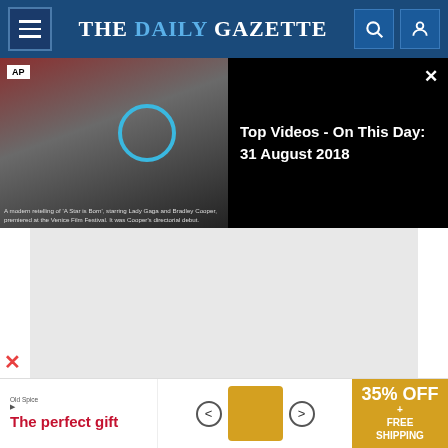THE DAILY GAZETTE
[Figure (screenshot): Video panel showing AP footage of Lady Gaga and Bradley Cooper at Venice Film Festival on left, with black panel on right showing 'Top Videos - On This Day: 31 August 2018']
A modern retelling of 'A Star is Born', starring Lady Gaga and Bradley Cooper, premiered at the Venice Film Festival. It was Cooper's directorial debut.
[Figure (other): Gray advertisement placeholder box]
Perhaps you are familiar with the protocol, which involves bibs and buckets for spent crab
[Figure (other): Bottom advertisement banner: The perfect gift - 35% OFF + FREE SHIPPING]